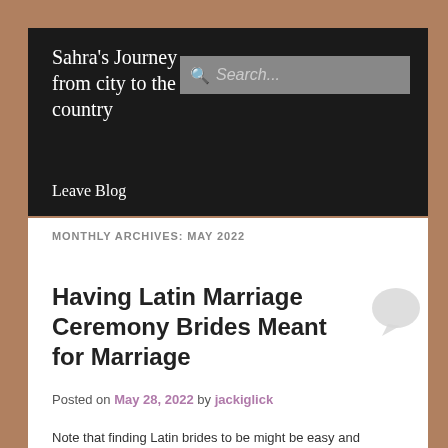Sahra's Journey from city to the country
Sahra's Journey from city to the country
MONTHLY ARCHIVES: MAY 2022
Having Latin Marriage Ceremony Brides Meant for Marriage
Posted on May 28, 2022 by jackiglick
Note that finding Latin brides to be might be easy and